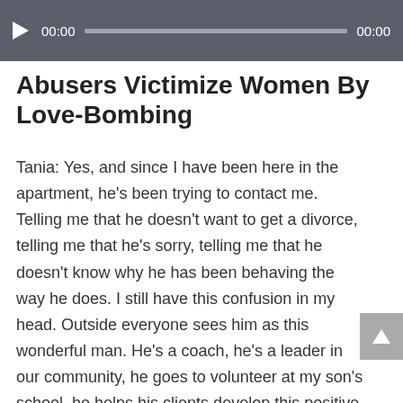[Figure (screenshot): Audio player bar with play button, timestamp 00:00, progress bar, and end time 00:00 on dark gray background]
Abusers Victimize Women By Love-Bombing
Tania: Yes, and since I have been here in the apartment, he's been trying to contact me. Telling me that he doesn't want to get a divorce, telling me that he's sorry, telling me that he doesn't know why he has been behaving the way he does. I still have this confusion in my head. Outside everyone sees him as this wonderful man. He's a coach, he's a leader in our community, he goes to volunteer at my son's school, he helps his clients develop this positive attitude about themselves and their bodies and minds and soul, but at home, he was so disrespectful to me that I lost myself.